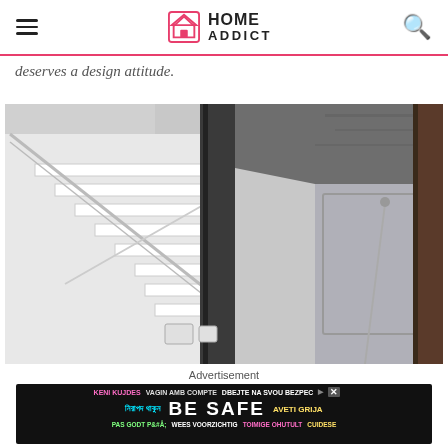HOME ADDICT
deserves a design attitude.
[Figure (photo): Interior architectural photo showing a white spiral/switchback staircase viewed from above, with raw concrete walls and ceiling, a gray panel wall, and a dark wood door on the right side.]
Advertisement
[Figure (screenshot): Advertisement banner with dark background showing multilingual safety message: KENI KUJDES, VAGIN AMB COMPTE, DBEJTE NA SVOU BEZPEC..., নিরাপদ থাকুন, BE SAFE, AVETI GRIJA, PAS GODT PA, WEES VOORZICHTIG, TOIMIGE OHUTULT, CUIDESE]